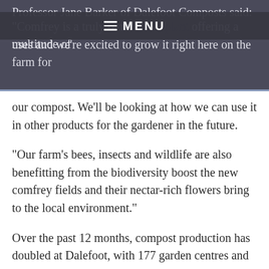Professor Jane Barker of Dalefoot Composts said: "Comfrey is a truly remarkable plant offering a multitude of uses and we're excited to grow it right here on the farm for our compost. We'll be looking at how we can use it in other products for the gardener in the future.
"Our farm's bees, insects and wildlife are also benefitting from the biodiversity boost the new comfrey fields and their nectar-rich flowers bring to the local environment."
Over the past 12 months, compost production has doubled at Dalefoot, with 177 garden centres and nurseries now stocking its products.
The Dalefoot team also restores peat bogs, some of which were once owned by peat compost companies, across the UK for the likes of Natural England, NatureScot, South West Water and wildlife trusts. Peat bogs store more...